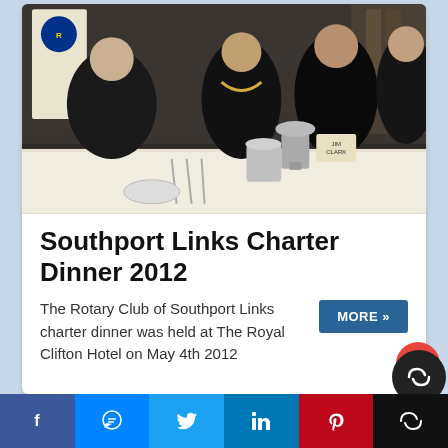[Figure (photo): Group of men in formal black tie attire seated at a dinner table with place settings, silverware, and a trophy cup. Rotary Club banners visible in background.]
Southport Links Charter Dinner 2012
The Rotary Club of Southport Links charter dinner was held at The Royal Clifton Hotel on May 4th 2012
f  [Messenger]  [Twitter]  in  p  [CO]